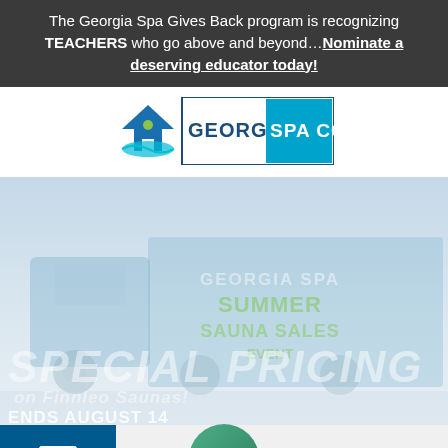The Georgia Spa Gives Back program is recognizing TEACHERS who go above and beyond…Nominate a deserving educator today!
[Figure (logo): Georgia Spa Co. logo with house icon and teal/blue text on white background with blue border]
[Figure (photo): Faded photo of a large blue truck with Georgia Spa Sauna Summer event text overlay. Large white italic text reads SPECIAL PRICING on Finnleo Saunas! with ENDS AUGUST 14 below.]
[Figure (infographic): Bottom navigation bar with a dark teal email icon button on the left and a green circular hamburger menu button in the center on a light gray bar.]